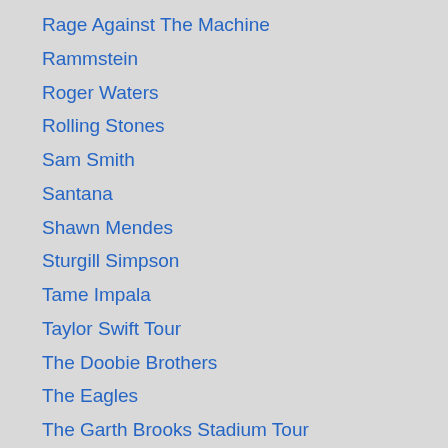Rage Against The Machine
Rammstein
Roger Waters
Rolling Stones
Sam Smith
Santana
Shawn Mendes
Sturgill Simpson
Tame Impala
Taylor Swift Tour
The Doobie Brothers
The Eagles
The Garth Brooks Stadium Tour
The Killers
The Lumineers
The Millennium Tour